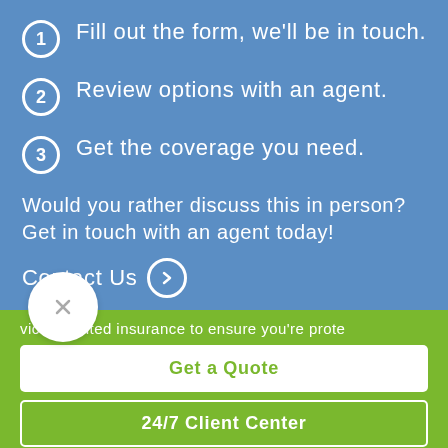1. Fill out the form, we'll be in touch.
2. Review options with an agent.
3. Get the coverage you need.
Would you rather discuss this in person? Get in touch with an agent today!
Contact Us →
vice-oriented insurance to ensure you're prote
Get a Quote
24/7 Client Center